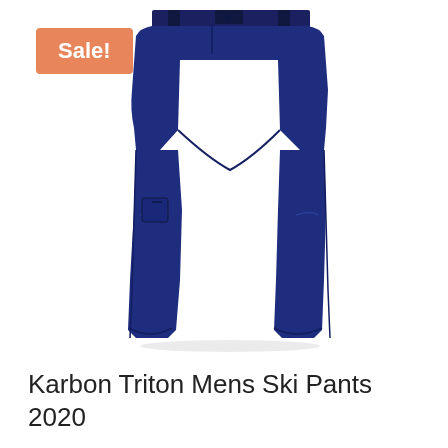[Figure (photo): Navy blue Karbon Triton Mens Ski Pants 2020 shown at an angle on a white background, with a Sale! badge in orange in the upper left corner of the image]
Karbon Triton Mens Ski Pants 2020